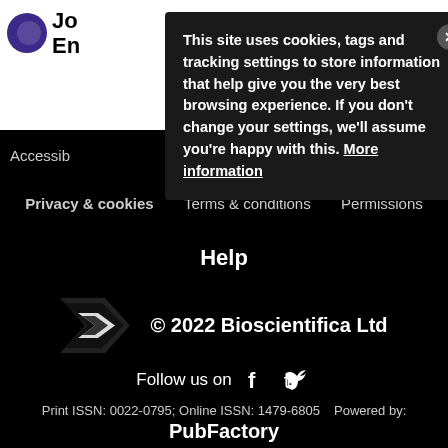[Figure (screenshot): Website header with journal logo showing partial text 'Jo En' with blue circle icon on left, and 'y for rinology' text with hamburger menu and search icons on right]
This site uses cookies, tags and tracking settings to store information that help give you the very best browsing experience. If you don't change your settings, we'll assume you're happy with this. More information
Accessib ... lliances
Privacy & cookies    Terms & conditions    Permissions
Help
[Figure (logo): Bioscientifica arrow/chevron logo in black and white]
© 2022 Bioscientifica Ltd
Follow us on
Print ISSN: 0022-0795; Online ISSN: 1479-6805    Powered by:
PubFactory